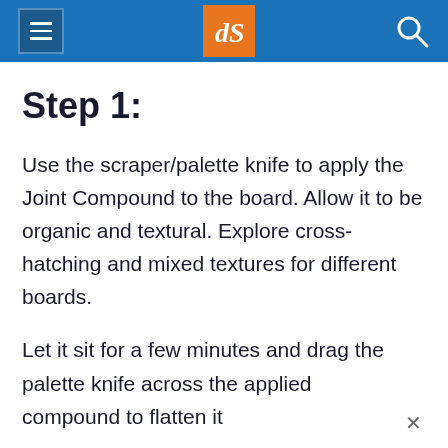dPS [logo and navigation]
Step 1:
Use the scraper/palette knife to apply the Joint Compound to the board. Allow it to be organic and textural. Explore cross-hatching and mixed textures for different boards.
Let it sit for a few minutes and drag the palette knife across the applied compound to flatten it